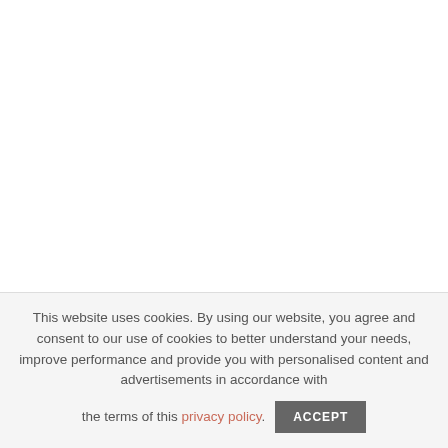This website uses cookies. By using our website, you agree and consent to our use of cookies to better understand your needs, improve performance and provide you with personalised content and advertisements in accordance with the terms of this privacy policy.
ACCEPT